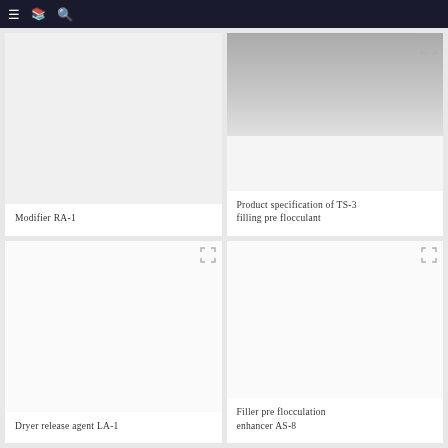≡ [document icon] 🔍
Modifier RA-1
[Figure (photo): Product card image area for Product specification of TS-3 filling pre flocculant, showing partial gray/white image at top]
Product specification of TS-3 filling pre flocculant
[Figure (photo): Empty white image area for Dryer release agent LA-1 card]
Dryer release agent LA-1
[Figure (photo): Empty white image area for Filler pre flocculation enhancer AS-8 card]
Filler pre flocculation enhancer AS-8